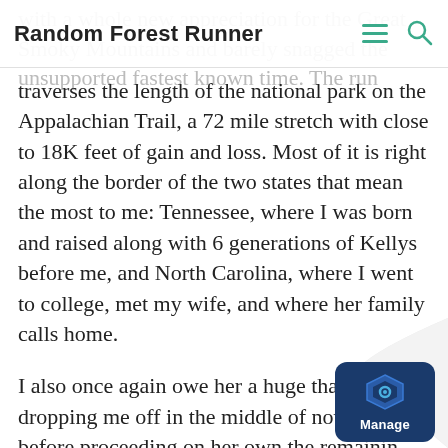Random Forest Runner
traverses the length of the national park on the Appalachian Trail, a 72 mile stretch with close to 18K feet of gain and loss. Most of it is right along the border of the two states that mean the most to me: Tennessee, where I was born and raised along with 6 generations of Kellys before me, and North Carolina, where I went to college, met my wife, and where her family calls home.
I also once again owe her a huge thank you for dropping me off in the middle of nowhere before proceeding on her own the remaining 1.5 hours to my parents house with all 3 kids late at night. On the other end of the run by Abraham, part of my extended family, was incredibly kind in driving out and waiti...